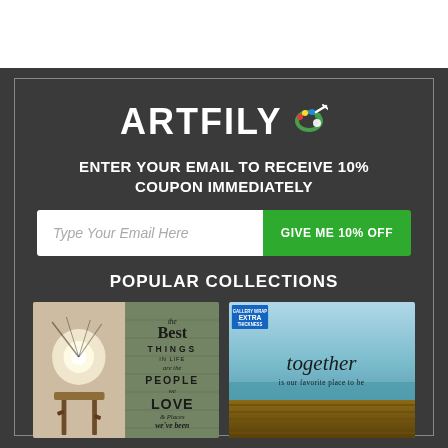[Figure (logo): ARTFILY logo with palette/brush icon in white on dark background]
ENTER YOUR EMAIL TO RECEIVE 10% COUPON IMMEDIATELY
Type Your Email Here
GIVE ME 10% OFF
POPULAR COLLECTIONS
[Figure (photo): Canvas art showing stool with glowing light and 'The Best Things in Life are the People we Love and Places we've been' sign on green wood background]
[Figure (photo): Canvas art with teal ocean background reading 'together is our favorite place to be' with GALLERY WRAP EXTRA THICKNESS badge]